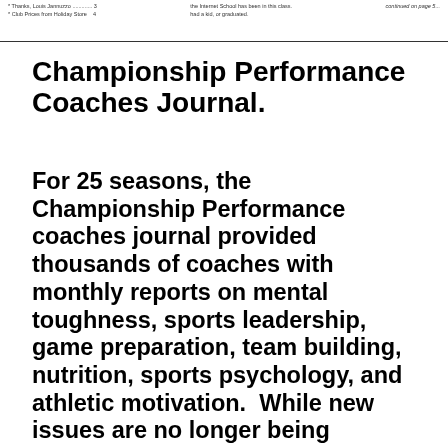* Thanks, Louis Jannuzzo ............. 3  * Club Prices from Holiday Store  4  the Internet School has been in this class. had a kid, or graduated.  continued on page 5...
Championship Performance Coaches Journal.
For 25 seasons, the Championship Performance coaches journal provided thousands of coaches with monthly reports on mental toughness, sports leadership, game preparation, team building, nutrition, sports psychology, and athletic motivation.  While new issues are no longer being published, we are proud to offer